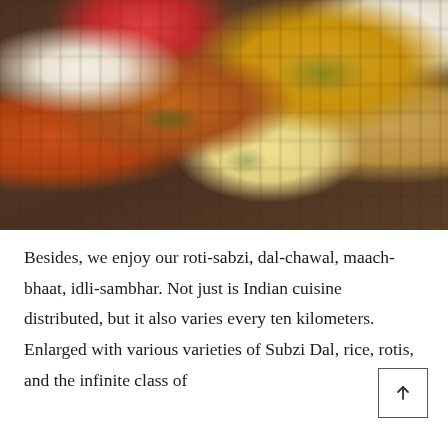[Figure (photo): Overhead view of Indian food spread on a wooden table: bowls of rice, curry, dal, tomato salad, scrambled eggs, flatbread/roti, red chillies, and fresh cilantro garnish.]
Besides, we enjoy our roti-sabzi, dal-chawal, maach-bhaat, idli-sambhar. Not just is Indian cuisine distributed, but it also varies every ten kilometers. Enlarged with various varieties of Subzi Dal, rice, rotis, and the infinite class of